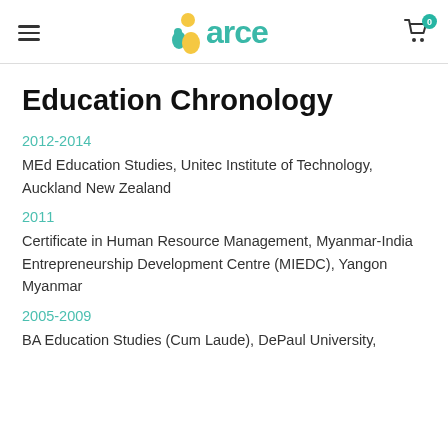arce (logo)
Education Chronology
2012-2014
MEd Education Studies, Unitec Institute of Technology, Auckland New Zealand
2011
Certificate in Human Resource Management, Myanmar-India Entrepreneurship Development Centre (MIEDC), Yangon Myanmar
2005-2009
BA Education Studies (Cum Laude), DePaul University,